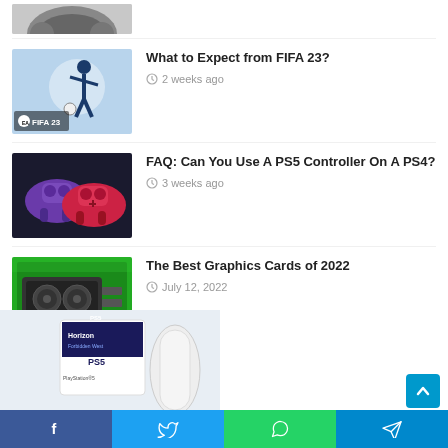[Figure (photo): Partial top image of a gaming controller (cropped)]
[Figure (photo): FIFA 23 game cover with footballer on light blue background]
What to Expect from FIFA 23?
2 weeks ago
[Figure (photo): Two PS5 DualSense controllers - one purple, one red/pink - on dark background]
FAQ: Can You Use A PS5 Controller On A PS4?
3 weeks ago
[Figure (photo): Graphics card on green background]
The Best Graphics Cards of 2022
July 12, 2022
[Figure (photo): PS5 console box with Horizon Forbidden West game]
[Figure (other): Social sharing bar with Facebook, Twitter, WhatsApp, Telegram buttons]